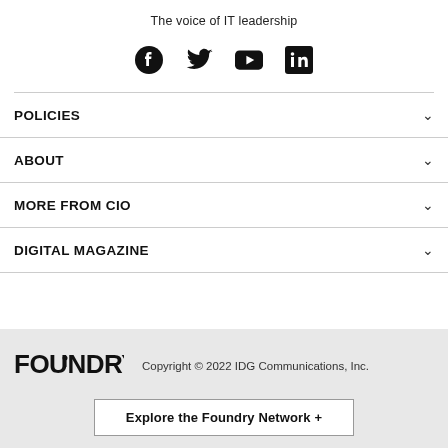The voice of IT leadership
[Figure (other): Social media icons: Facebook, Twitter, YouTube, LinkedIn]
POLICIES
ABOUT
MORE FROM CIO
DIGITAL MAGAZINE
[Figure (logo): Foundry logo]
Copyright © 2022 IDG Communications, Inc.
Explore the Foundry Network +